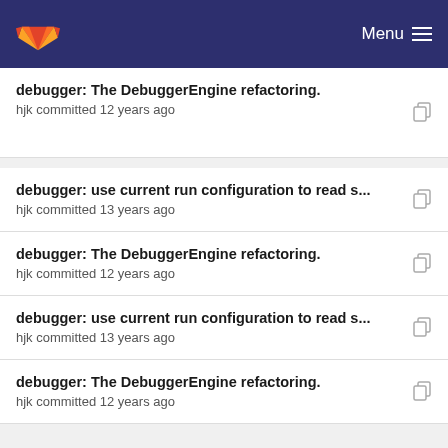GitLab Menu
debugger: The DebuggerEngine refactoring.
hjk committed 12 years ago
debugger: use current run configuration to read s...
hjk committed 13 years ago
debugger: The DebuggerEngine refactoring.
hjk committed 12 years ago
debugger: use current run configuration to read s...
hjk committed 13 years ago
debugger: The DebuggerEngine refactoring.
hjk committed 12 years ago